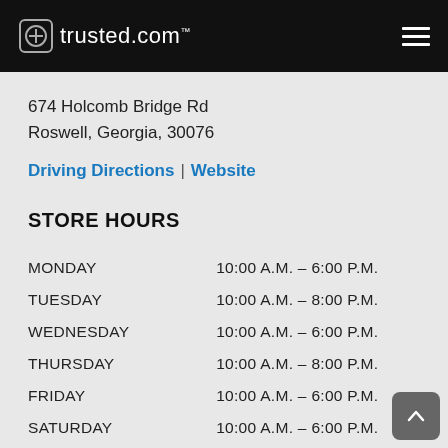trusted.com
674 Holcomb Bridge Rd
Roswell, Georgia, 30076
Driving Directions | Website
STORE HOURS
| Day | Hours |
| --- | --- |
| MONDAY | 10:00 A.M. – 6:00 P.M. |
| TUESDAY | 10:00 A.M. – 8:00 P.M. |
| WEDNESDAY | 10:00 A.M. – 6:00 P.M. |
| THURSDAY | 10:00 A.M. – 8:00 P.M. |
| FRIDAY | 10:00 A.M. – 6:00 P.M. |
| SATURDAY | 10:00 A.M. – 6:00 P.M. |
| SUNDAY | CALL FOR STORE HOURS |